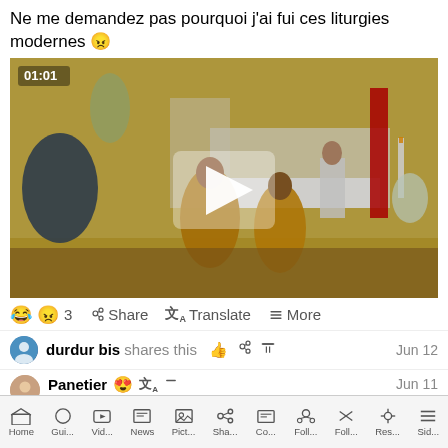Ne me demandez pas pourquoi j'ai fui ces liturgies modernes 😠
[Figure (screenshot): Video thumbnail showing a church scene with masked performers in colorful costumes dancing/moving near an altar. Timestamp 01:01 shown in top-left. A large play button overlay is in the center.]
😂 😠 3 Like   Share   Translate   More
durdur bis shares this   👍  share  more  Jun 12
Panetier  😍  Translate  More  Jun 11
RÉPARONS en adorant Jésus-Eucharistie ! R-E-P-A-R-O-N-S...
Home   Gui...   Vid...   News   Pict...   Sha...   Co...   Foll...   Foll...   Res...   Sid...